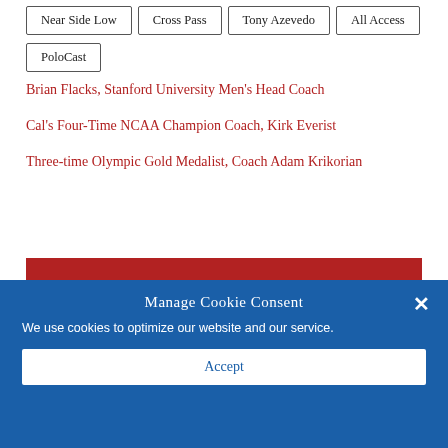Near Side Low
Cross Pass
Tony Azevedo
All Access
PoloCast
Brian Flacks, Stanford University Men's Head Coach
Cal's Four-Time NCAA Champion Coach, Kirk Everist
Three-time Olympic Gold Medalist, Coach Adam Krikorian
Manage Cookie Consent
We use cookies to optimize our website and our service.
Accept